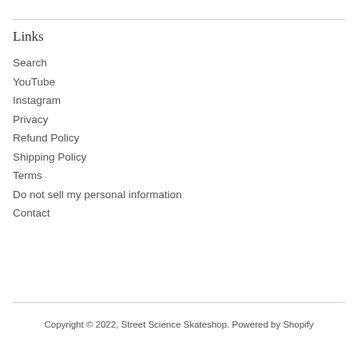Links
Search
YouTube
Instagram
Privacy
Refund Policy
Shipping Policy
Terms
Do not sell my personal information
Contact
Copyright © 2022, Street Science Skateshop. Powered by Shopify